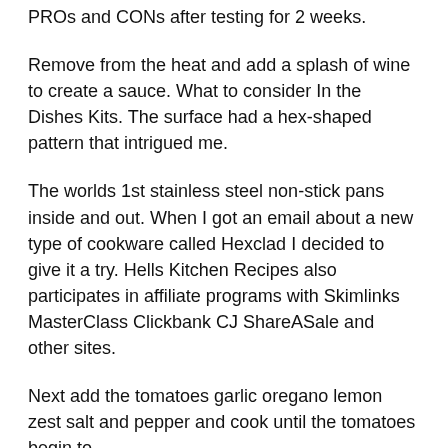PROs and CONs after testing for 2 weeks.
Remove from the heat and add a splash of wine to create a sauce. What to consider In the Dishes Kits. The surface had a hex-shaped pattern that intrigued me.
The worlds 1st stainless steel non-stick pans inside and out. When I got an email about a new type of cookware called Hexclad I decided to give it a try. Hells Kitchen Recipes also participates in affiliate programs with Skimlinks MasterClass Clickbank CJ ShareASale and other sites.
Next add the tomatoes garlic oregano lemon zest salt and pepper and cook until the tomatoes begin to break down, about 4-5 minutes. It is a little lighter in weight